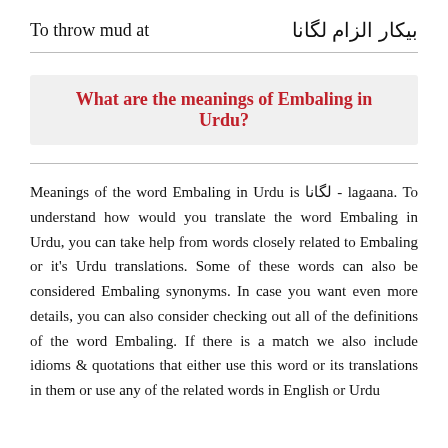To throw mud at | بيکار الزام لگانا
What are the meanings of Embaling in Urdu?
Meanings of the word Embaling in Urdu is لگانا - lagaana. To understand how would you translate the word Embaling in Urdu, you can take help from words closely related to Embaling or it's Urdu translations. Some of these words can also be considered Embaling synonyms. In case you want even more details, you can also consider checking out all of the definitions of the word Embaling. If there is a match we also include idioms & quotations that either use this word or its translations in them or use any of the related words in English or Urdu